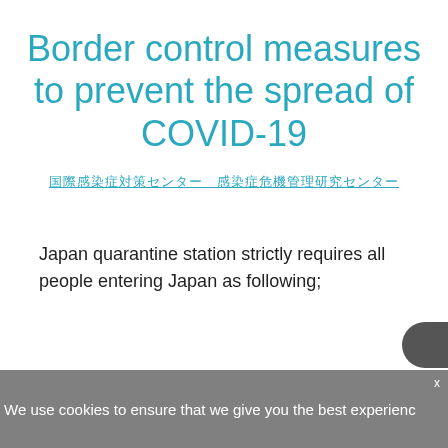Border control measures to prevent the spread of COVID-19
国際感染症対策センター 感染症危機管理研究センター
Japan quarantine station strictly requires all people entering Japan as following;
We use cookies to ensure that we give you the best experience